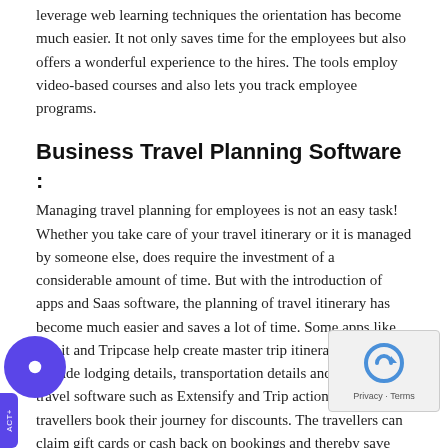leverage web learning techniques the orientation has become much easier. It not only saves time for the employees but also offers a wonderful experience to the hires. The tools employ video-based courses and also lets you track employee programs.
Business Travel Planning Software :
Managing travel planning for employees is not an easy task! Whether you take care of your travel itinerary or it is managed by someone else, does require the investment of a considerable amount of time. But with the introduction of apps and Saas software, the planning of travel itinerary has become much easier and saves a lot of time. Some apps like Tripit and Tripcase help create master trip itineraries that include lodging details, transportation details and so on. Other travel software such as Extensify and Trip actions let travellers book their journey for discounts. The travellers can claim gift cards or cash back on bookings and thereby save more on the travel. This type of programs offer travellers with the freedom to choose travel for the best price.
loud Monitoring Software :
cloud monitoring software saves big time in case of any